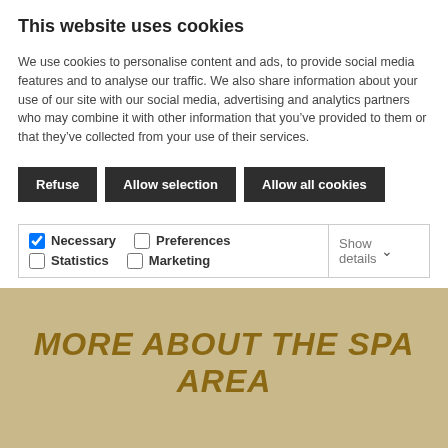This website uses cookies
We use cookies to personalise content and ads, to provide social media features and to analyse our traffic. We also share information about your use of our site with our social media, advertising and analytics partners who may combine it with other information that you've provided to them or that they've collected from your use of their services.
Refuse | Allow selection | Allow all cookies
Necessary | Preferences | Statistics | Marketing | Show details
MORE ABOUT THE SPA AREA